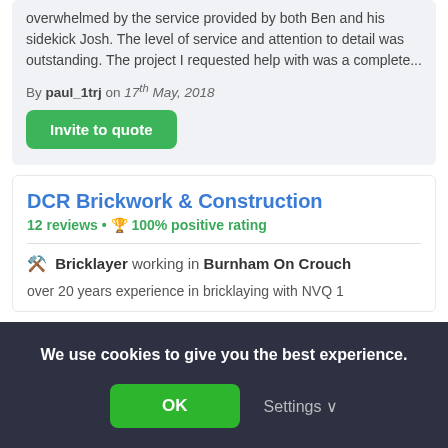overwhelmed by the service provided by both Ben and his sidekick Josh. The level of service and attention to detail was outstanding. The project I requested help with was a complete...
By paul_1trj on 17th May, 2018
Invite to quote
DCR Brickwork & Construction
12 reviews • 🏆 100% positive rating
🔧 Bricklayer working in Burnham On Crouch
over 20 years experience in bricklaying with NVQ 1
We use cookies to give you the best experience.
OK
Settings ∨